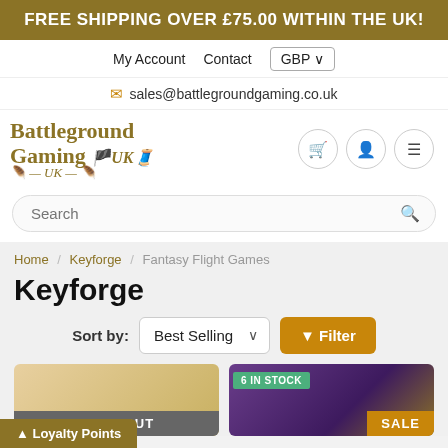FREE SHIPPING OVER £75.00 WITHIN THE UK!
My Account   Contact   GBP
sales@battlegroundgaming.co.uk
[Figure (logo): Battleground Gaming UK logo with decorative serif text and golden wing motif]
Search
Home / Keyforge / Fantasy Flight Games
Keyforge
Sort by: Best Selling   Filter
[Figure (screenshot): Sold Out product card placeholder]
[Figure (screenshot): In Stock product card with Sale badge]
Loyalty Points